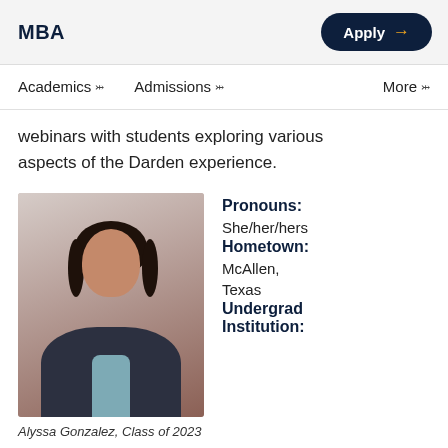MBA
Apply →
Academics ∨   Admissions ∨   More ∨
webinars with students exploring various aspects of the Darden experience.
[Figure (photo): Professional headshot of Alyssa Gonzalez, a young woman with dark hair, wearing a dark blazer over a light blue top, arms crossed, smiling, standing in front of a columned building.]
Alyssa Gonzalez, Class of 2023
Pronouns: She/her/hers
Hometown: McAllen, Texas
Undergrad Institution: